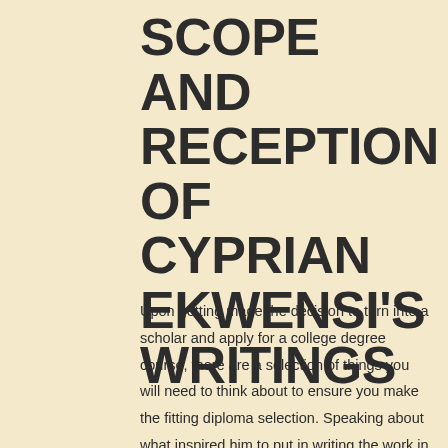SCOPE AND RECEPTION OF CYPRIAN EKWENSI'S WRITINGS
Upon getting made the decision to turn into a scholar and apply for a college degree course, there are a selection of things you will need to think about to ensure you make the fitting diploma selection. Speaking about what inspired him to put in writing the work in an interview, Ekwensi mentioned: I used to be a pharmacy student at